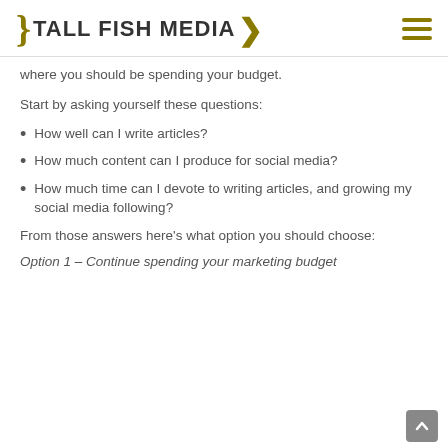Tall Fish Media
where you should be spending your budget.
Start by asking yourself these questions:
How well can I write articles?
How much content can I produce for social media?
How much time can I devote to writing articles, and growing my social media following?
From those answers here's what option you should choose:
Option 1 – Continue spending your marketing budget